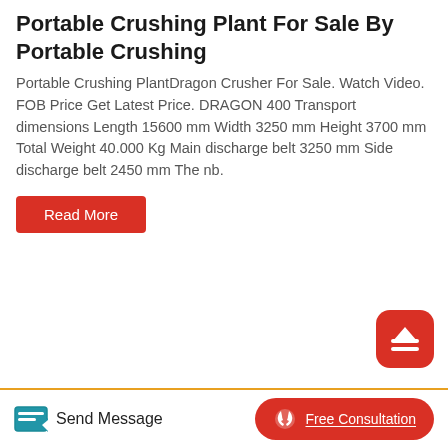Portable Crushing Plant For Sale By Portable Crushing
Portable Crushing PlantDragon Crusher For Sale. Watch Video. FOB Price Get Latest Price. DRAGON 400 Transport dimensions Length 15600 mm Width 3250 mm Height 3700 mm Total Weight 40.000 Kg Main discharge belt 3250 mm Side discharge belt 2450 mm The nb.
[Figure (photo): Read More button (red) and scroll-to-top icon button (red rounded square with up-arrow)]
[Figure (photo): Photo of a portable jaw crushing plant in an industrial factory, showing large red and white flywheel/pulley wheels of the crusher machinery.]
Send Message   Free Consultation